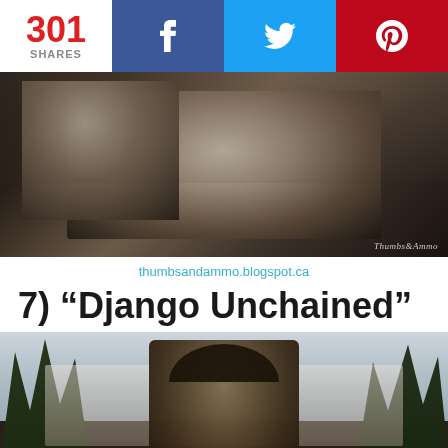[Figure (screenshot): Share bar with count 301 SHARES, Facebook button (blue), Twitter button (light blue), Pinterest button (red)]
[Figure (photo): Two men in suits giving thumbs up, from the movie Pulp Fiction or similar film. Watermark reads Thumbs&Ammo.]
thumbsandammo.blogspot.ca
7) “Django Unchained”
[Figure (photo): A man wearing a cowboy hat giving a thumbs up, mountains and trees in background. Scene from Django Unchained.]